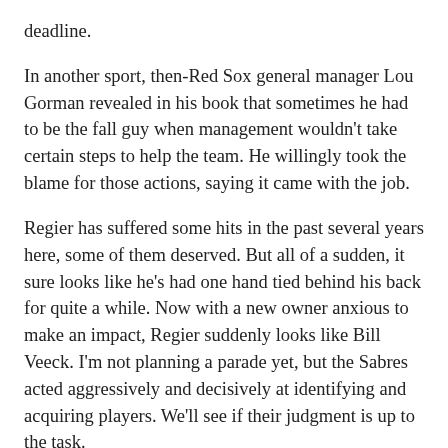deadline.
In another sport, then-Red Sox general manager Lou Gorman revealed in his book that sometimes he had to be the fall guy when management wouldn't take certain steps to help the team. He willingly took the blame for those actions, saying it came with the job.
Regier has suffered some hits in the past several years here, some of them deserved. But all of a sudden, it sure looks like he's had one hand tied behind his back for quite a while. Now with a new owner anxious to make an impact, Regier suddenly looks like Bill Veeck. I'm not planning a parade yet, but the Sabres acted aggressively and decisively at identifying and acquiring players. We'll see if their judgment is up to the task.
Regier always struck me a pretty bright person, and was at times a victim of some odd personnel moves instead of the perpetrator. He was rewarded for it with a large contract extension before the old ownership left, but his GM chair must have been warm if not downright hot at times. I'm not